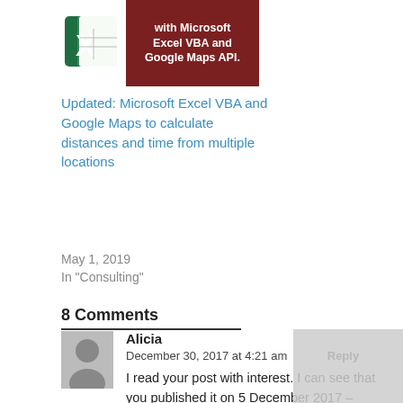[Figure (illustration): Excel icon and book cover showing 'with Microsoft Excel VBA and Google Maps API.']
Updated: Microsoft Excel VBA and Google Maps to calculate distances and time from multiple locations
May 1, 2019
In "Consulting"
8 Comments
Alicia
December 30, 2017 at 4:21 am
Reply
I read your post with interest. I can see that you published it on 5 December 2017 – unfortunately Google disabled the downgrade. We cannot downgrade to old Google Forms any more. This happened two months ago. I am curious – how did you manage it?
Thank you.